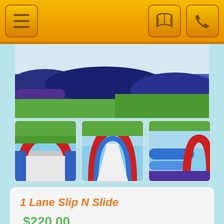[Figure (screenshot): Mobile app navigation bar with hamburger menu icon on left and map/phone icons on right, orange background]
[Figure (photo): Top portion of a blue inflatable 1 Lane Slip N Slide on green grass]
[Figure (photo): Three thumbnail photos of 1 Lane Slip N Slide from different angles showing red and blue inflatable arches and long slide lane]
1 Lane Slip N Slide
$220.00
Keep all of the children at your upcoming birthday party or local event nice and cool by hiring this stunning 1 Lane Slip N Slide!